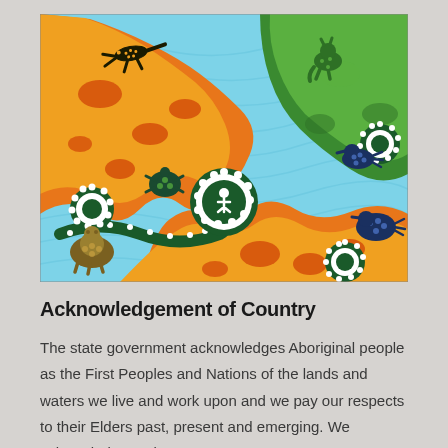[Figure (illustration): Aboriginal dot art illustration featuring animals (lizards, kangaroo, birds, turtle, wombat) rendered in orange, yellow, green on a light blue dotted background with a central circular motif. Traditional Indigenous Australian art style with bold outlines and dotted patterns.]
Acknowledgement of Country
The state government acknowledges Aboriginal people as the First Peoples and Nations of the lands and waters we live and work upon and we pay our respects to their Elders past, present and emerging. We acknowledge and respect